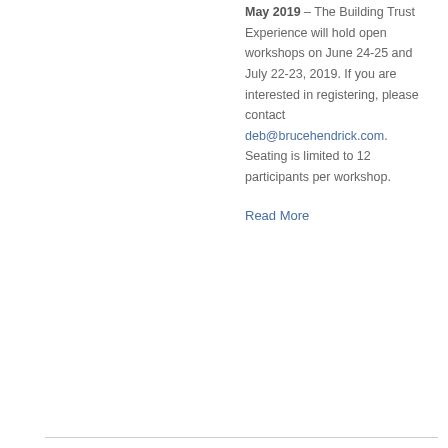May 2019 – The Building Trust Experience will hold open workshops on June 24-25 and July 22-23, 2019. If you are interested in registering, please contact deb@brucehendrick.com. Seating is limited to 12 participants per workshop.
Read More